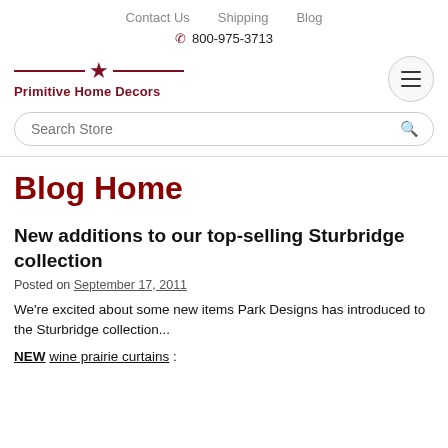Contact Us   Shipping   Blog
☎ 800-975-3713
Primitive Home Decors
[Figure (logo): Primitive Home Decors logo with dark red star and horizontal lines, text below]
Search Store
Blog Home
New additions to our top-selling Sturbridge collection
Posted on September 17, 2011
We're excited about some new items Park Designs has introduced to the Sturbridge collection...
NEW wine prairie curtains :